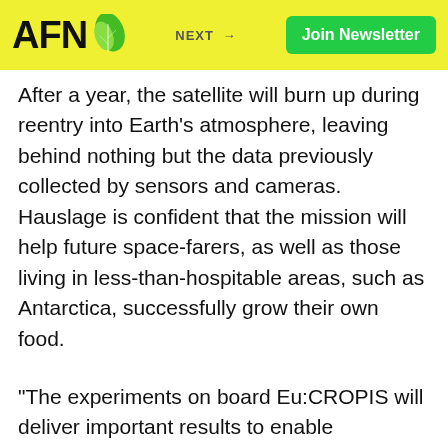AFN | NEXT → | Join Newsletter
After a year, the satellite will burn up during reentry into Earth's atmosphere, leaving behind nothing but the data previously collected by sensors and cameras. Hauslage is confident that the mission will help future space-farers, as well as those living in less-than-hospitable areas, such as Antarctica, successfully grow their own food.
“The experiments on board Eu:CROPIS will deliver important results to enable humankind to survive in hostile environments – whether it be in space or here on Earth,” Hauslage said.